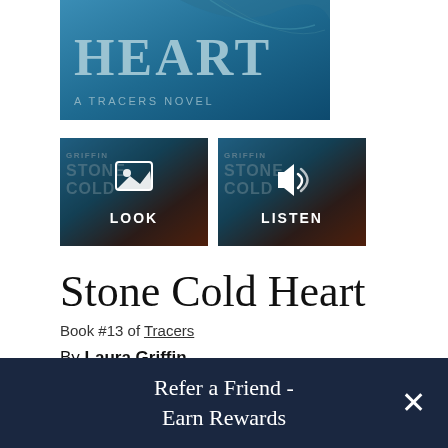[Figure (screenshot): Top portion of a book cover for 'Stone Cold Heart - A Tracers Novel' with teal/blue background showing partial title text 'HEART' and subtitle 'A TRACERS NOVEL']
[Figure (screenshot): Two clickable buttons showing the book cover thumbnail - left button says LOOK with image icon, right button says LISTEN with speaker icon]
Stone Cold Heart
Book #13 of Tracers
By Laura Griffin
Mass Market Paperback
Refer a Friend - Earn Rewards